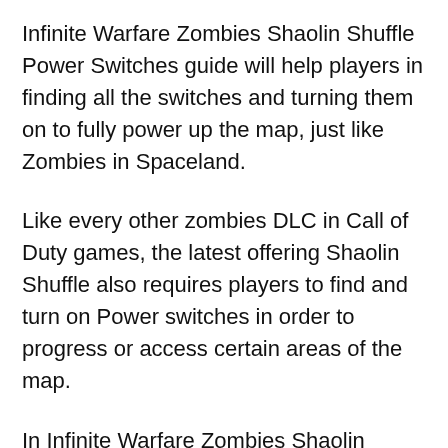Infinite Warfare Zombies Shaolin Shuffle Power Switches guide will help players in finding all the switches and turning them on to fully power up the map, just like Zombies in Spaceland.
Like every other zombies DLC in Call of Duty games, the latest offering Shaolin Shuffle also requires players to find and turn on Power switches in order to progress or access certain areas of the map.
In Infinite Warfare Zombies Shaolin Shuffle, there are four switches which the players need to enable to unlock all sections of the 1970s New York map.